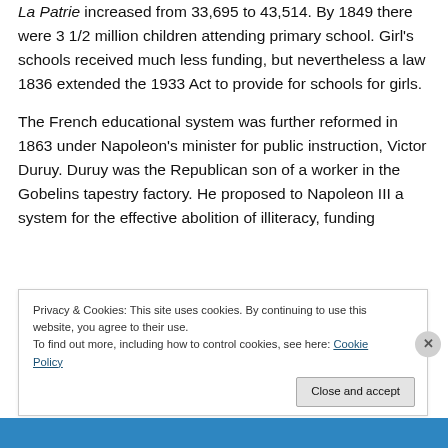La Patrie increased from 33,695 to 43,514. By 1849 there were 3 1/2 million children attending primary school. Girl's schools received much less funding, but nevertheless a law 1836 extended the 1933 Act to provide for schools for girls.
The French educational system was further reformed in 1863 under Napoleon's minister for public instruction, Victor Duruy. Duruy was the Republican son of a worker in the Gobelins tapestry factory. He proposed to Napoleon III a system for the effective abolition of illiteracy, funding
Privacy & Cookies: This site uses cookies. By continuing to use this website, you agree to their use.
To find out more, including how to control cookies, see here: Cookie Policy